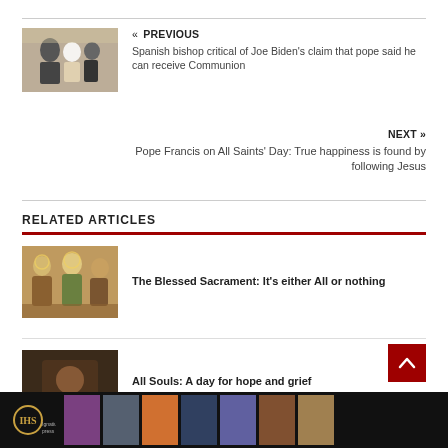« PREVIOUS
Spanish bishop critical of Joe Biden's claim that pope said he can receive Communion
NEXT »
Pope Francis on All Saints' Day: True happiness is found by following Jesus
RELATED ARTICLES
The Blessed Sacrament: It's either All or nothing
All Souls: A day for hope and grief
[Figure (photo): Photo of figures with pope]
[Figure (photo): Religious artwork - Blessed Sacrament]
[Figure (photo): Dark devotional photo]
Ignatius Press book thumbnails bar